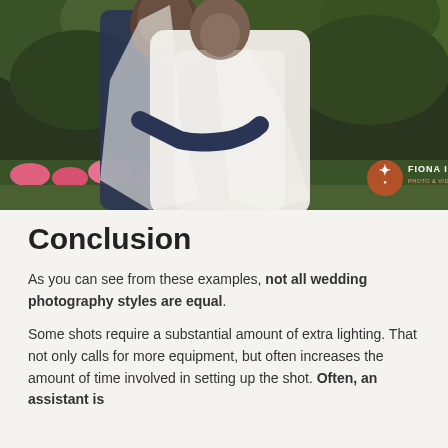[Figure (photo): Wedding photo of a couple — groom in navy blue suit with bow tie stands behind bride in white lace wedding dress and veil; outdoor setting with green foliage and pink flowers in background. Watermark reads 'FIONA IMAGE PHOTO & VIDEO' in bottom right corner.]
Conclusion
As you can see from these examples, not all wedding photography styles are equal.
Some shots require a substantial amount of extra lighting. That not only calls for more equipment, but often increases the amount of time involved in setting up the shot. Often, an assistant is